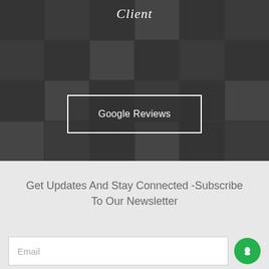[Figure (photo): Dark-toned hero image showing printed materials and sample tiles/swatches on a table, with semi-transparent dark overlay]
Client
Google Reviews
Get Updates And Stay Connected -Subscribe To Our Newsletter
Email